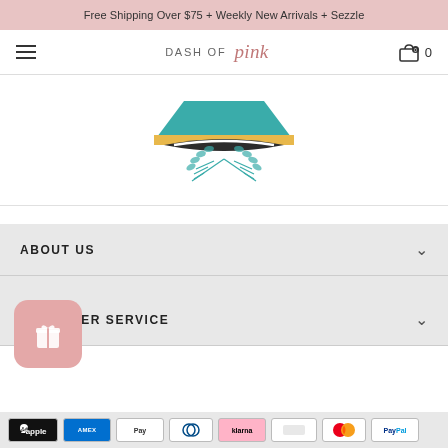Free Shipping Over $75 + Weekly New Arrivals + Sezzle
[Figure (logo): Dash of Pink navigation bar with hamburger menu, logo text, and cart icon showing 0]
[Figure (logo): Teal and gold emblem logo with wheat/laurel wreath and necklace/bowtie shape]
ABOUT US
CUSTOMER SERVICE
[Figure (other): Pink gift/rewards button icon (rounded square with gift box icon)]
[Figure (other): Payment method icons row: Apple Pay, American Express, Apple Pay, Diners Club, Klarna, unknown, Mastercard, PayPal]